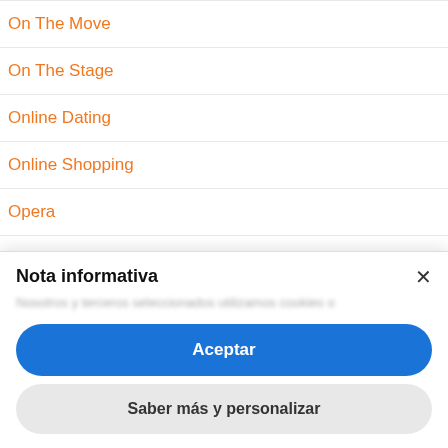On The Move
On The Stage
Online Dating
Online Shopping
Opera
Opposites
Nota informativa
Nosotros y terceros seleccionados utilizamos cookies o...
Aceptar
Saber más y personalizar